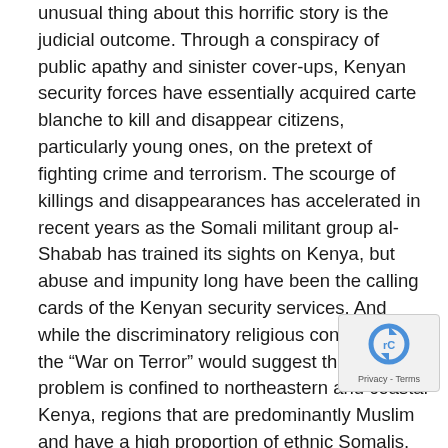unusual thing about this horrific story is the judicial outcome. Through a conspiracy of public apathy and sinister cover-ups, Kenyan security forces have essentially acquired carte blanche to kill and disappear citizens, particularly young ones, on the pretext of fighting crime and terrorism. The scourge of killings and disappearances has accelerated in recent years as the Somali militant group al-Shabab has trained its sights on Kenya, but abuse and impunity long have been the calling cards of the Kenyan security services. And while the discriminatory religious contours of the “War on Terror” would suggest that the problem is confined to northeastern and coastal Kenya, regions that are predominantly Muslim and have a high proportion of ethnic Somalis, the truth is that Kenyan authorities routinely commit violent crimes against young people all over the country. Foreign Policy
Sierra Leone President Orders Government Reshuffle
Sierra Leone’s president carried out the biggest cabinet
[Figure (other): reCAPTCHA widget overlay showing the reCAPTCHA icon and 'Privacy - Terms' text]